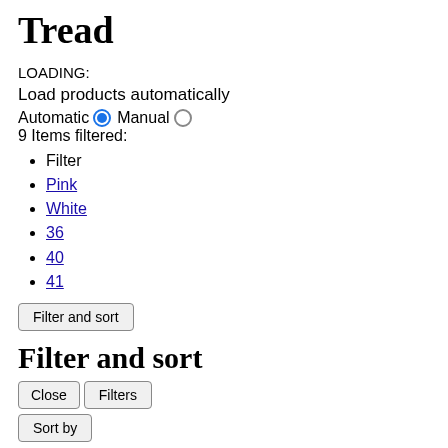Tread
LOADING:
Load products automatically
Automatic [radio selected] Manual [radio empty]
9 Items filtered:
Filter
Pink
White
36
40
41
Filter and sort
Filter and sort
Close  Filters
Sort by